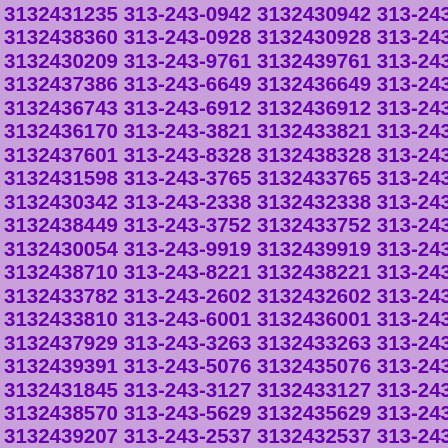3132431235 313-243-0942 3132430942 313-243-8360 3132438360 313-243-0928 3132430928 313-243-0209 3132430209 313-243-9761 3132439761 313-243-7386 3132437386 313-243-6649 3132436649 313-243-6743 3132436743 313-243-6912 3132436912 313-243-6170 3132436170 313-243-3821 3132433821 313-243-7601 3132437601 313-243-8328 3132438328 313-243-1598 3132431598 313-243-3765 3132433765 313-243-0342 3132430342 313-243-2338 3132432338 313-243-8449 3132438449 313-243-3752 3132433752 313-243-0054 3132430054 313-243-9919 3132439919 313-243-8710 3132438710 313-243-8221 3132438221 313-243-3782 3132433782 313-243-2602 3132432602 313-243-3810 3132433810 313-243-6001 3132436001 313-243-7929 3132437929 313-243-3263 3132433263 313-243-9391 3132439391 313-243-5076 3132435076 313-243-1845 3132431845 313-243-3127 3132433127 313-243-8570 3132438570 313-243-5629 3132435629 313-243-9207 3132439207 313-243-2537 3132432537 313-243-3134 3132433134 313-243-7112 3132437112 313-243-1491